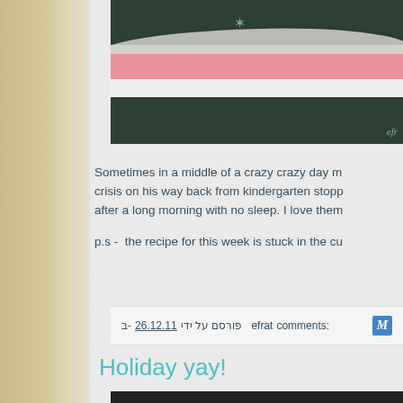[Figure (photo): Folded blankets/quilts stacked together — dark green, grey, pink, and white layers — on a dark background with watermark text 'efr' visible]
Sometimes in a middle of a crazy crazy day m... crisis on his way back from kindergarten stopp... after a long morning with no sleep. I love them
p.s -  the recipe for this week is stuck in the cu...
ב- 26.12.11  efrat פורסם על ידי    comments:
Holiday yay!
[Figure (photo): Partial view of a second blog post photo, mostly cut off at bottom of page]